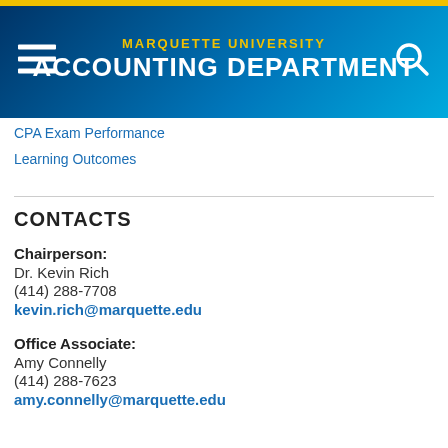MARQUETTE UNIVERSITY ACCOUNTING DEPARTMENT
CPA Exam Performance
Learning Outcomes
CONTACTS
Chairperson:
Dr. Kevin Rich
(414) 288-7708
kevin.rich@marquette.edu
Office Associate:
Amy Connelly
(414) 288-7623
amy.connelly@marquette.edu